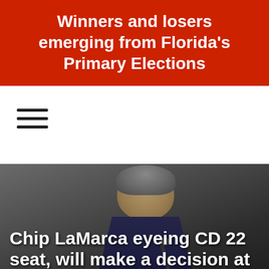Winners and losers emerging from Florida's Primary Elections
[Figure (other): Hamburger menu icon with three horizontal lines]
[Figure (photo): A man in a suit, photographed from the chest up against a dark grey background, partially cropped. Overlaid with large white bold text reading: Chip LaMarca eyeing CD 22 seat, will make a decision at the end of...]
Chip LaMarca eyeing CD 22 seat, will make a decision at the end